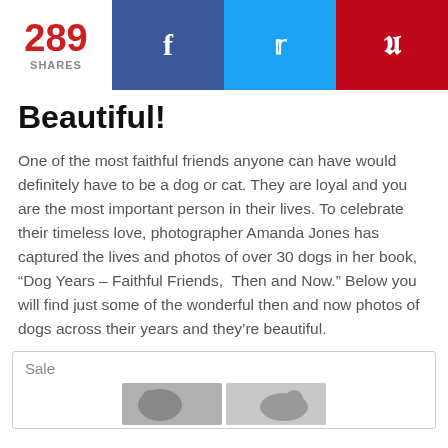289 SHARES | f | t | p
Beautiful!
One of the most faithful friends anyone can have would definitely have to be a dog or cat. They are loyal and you are the most important person in their lives. To celebrate their timeless love, photographer Amanda Jones has captured the lives and photos of over 30 dogs in her book, “Dog Years – Faithful Friends, Then and Now.” Below you will find just some of the wonderful then and now photos of dogs across their years and they’re beautiful.
Sale